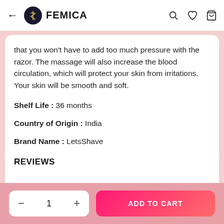← FEMICA [logo] [search icon] [heart icon] [bag icon]
that you won't have to add too much pressure with the razor. The massage will also increase the blood circulation, which will protect your skin from irritations. Your skin will be smooth and soft.
Shelf Life : 36 months
Country of Origin : India
Brand Name : LetsShave
REVIEWS